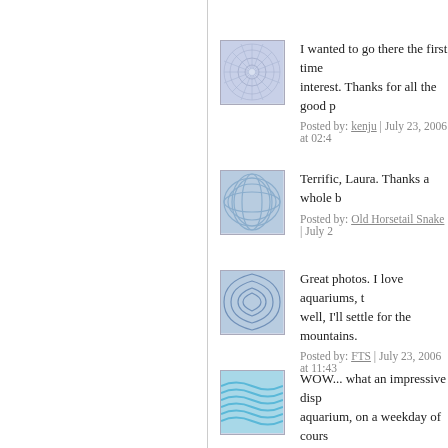[Figure (illustration): Blue geometric snowflake/star pattern avatar icon]
I wanted to go there the first time... interest. Thanks for all the good p
Posted by: kenju | July 23, 2006 at 02:4
[Figure (illustration): Blue concentric wave/spiral pattern avatar icon]
Terrific, Laura. Thanks a whole b
Posted by: Old Horsetail Snake | July 2
[Figure (illustration): Blue concentric arc pattern avatar icon]
Great photos. I love aquariums, t... well, I'll settle for the mountains.
Posted by: FTS | July 23, 2006 at 11:43
[Figure (illustration): Cyan wavy lines pattern avatar icon]
WOW... what an impressive disp... aquarium, on a weekday of cours... pictures.

I will probably wait to go to the a... weekday.
Posted by: Sandy of AIP | July 24, 2006